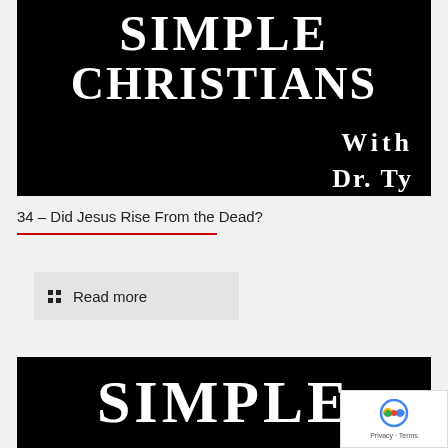[Figure (illustration): Book or podcast cover image with white text 'SIMPLE CHRISTIANS' and 'WITH' on a black background]
34 – Did Jesus Rise From the Dead?
Read more
[Figure (illustration): Bottom portion of a podcast/book cover showing 'SIMPLE' in large white serif text on black background]